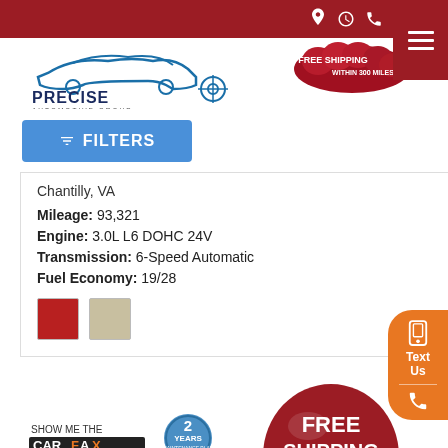Precise Automotive Group — Free Shipping Within 300 Miles
[Figure (logo): Precise Automotive Group logo with car silhouette]
[Figure (infographic): Free Shipping Within 300 Miles badge with red balloons]
Filters
Chantilly, VA
Mileage: 93,321
Engine: 3.0L L6 DOHC 24V
Transmission: 6-Speed Automatic
Fuel Economy: 19/28
[Figure (infographic): Color swatches: red and tan/beige]
[Figure (infographic): Free Shipping Up To 300 Miles red balloon graphic]
[Figure (logo): Show Me The CARFAX logo]
[Figure (infographic): 2 Years Maintenance Plan Included badge]